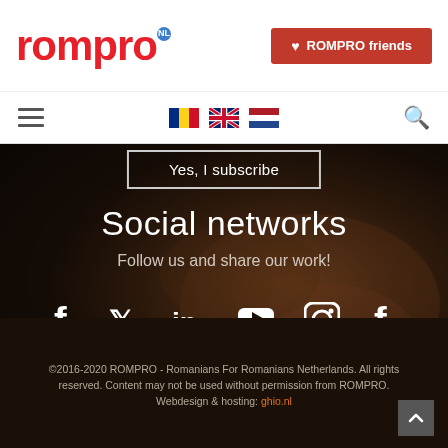rompro NL | ROMPRO friends
[Figure (screenshot): Rompro logo in red bold text with NL badge, and a red ROMPRO friends button on the right]
[Figure (screenshot): Navigation bar with hamburger menu, Romanian, UK and Dutch flag language selectors, and search icon]
[Figure (screenshot): Dark background image showing hands holding a smartphone with social network icons and text overlay]
Yes, I subscribe
Social networks
Follow us and share our work!
[Figure (infographic): Row of social media icons: Facebook, Twitter, LinkedIn, YouTube, Instagram, Facebook]
©2016-2020 ROMPRO - Romanians For Romanians Netherlands. All rights reserved. Content may not be used without permission from ROMPRO. Webdesign & hosting: ghio.nl